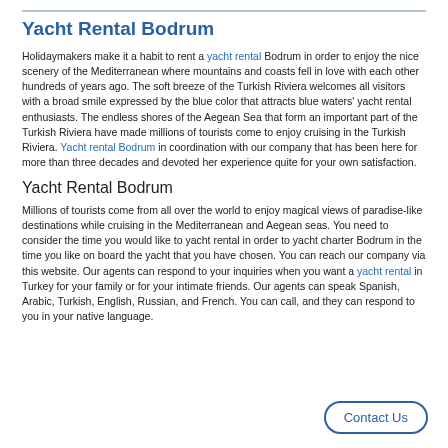Yacht Rental Bodrum
Holidaymakers make it a habit to rent a yacht rental Bodrum in order to enjoy the nice scenery of the Mediterranean where mountains and coasts fell in love with each other hundreds of years ago. The soft breeze of the Turkish Riviera welcomes all visitors with a broad smile expressed by the blue color that attracts blue waters' yacht rental enthusiasts. The endless shores of the Aegean Sea that form an important part of the Turkish Riviera have made millions of tourists come to enjoy cruising in the Turkish Riviera. Yacht rental Bodrum in coordination with our company that has been here for more than three decades and devoted her experience quite for your own satisfaction.
Yacht Rental Bodrum
Millions of tourists come from all over the world to enjoy magical views of paradise-like destinations while cruising in the Mediterranean and Aegean seas. You need to consider the time you would like to yacht rental in order to yacht charter Bodrum in the time you like on board the yacht that you have chosen. You can reach our company via this website. Our agents can respond to your inquiries when you want a yacht rental in Turkey for your family or for your intimate friends. Our agents can speak Spanish, Arabic, Turkish, English, Russian, and French. You can call, and they can respond to you in your native language.
Contact Us